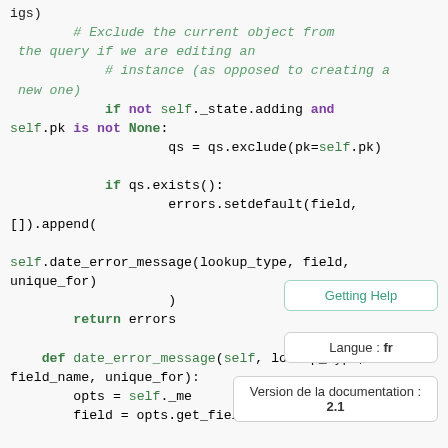Python code snippet showing validate_unique_for_date method with comments, conditionals, and date_error_message function definition
Getting Help tooltip (button)
Langue : fr tooltip
Version de la documentation : 2.1 tooltip